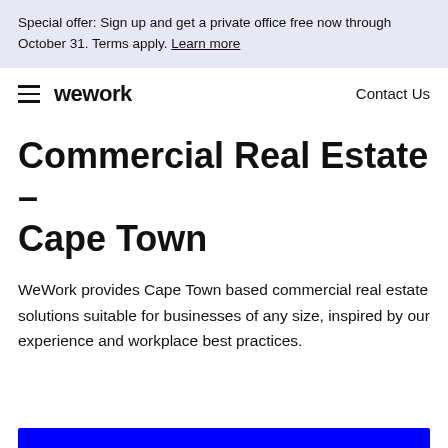Special offer: Sign up and get a private office free now through October 31. Terms apply. Learn more
WeWork | Contact Us
Commercial Real Estate – Cape Town
WeWork provides Cape Town based commercial real estate solutions suitable for businesses of any size, inspired by our experience and workplace best practices.